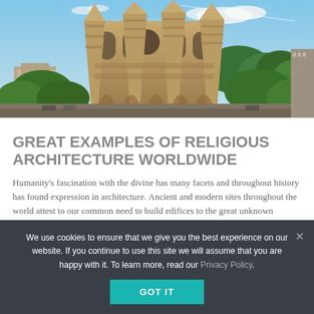[Figure (photo): Photograph of a large ornate Gothic/Art Nouveau cathedral (Sagrada Família, Barcelona) with tall spires against a blue sky, surrounded by green trees and urban buildings in the foreground.]
GREAT EXAMPLES OF RELIGIOUS ARCHITECTURE WORLDWIDE
Humanity's fascination with the divine has many facets and throughout history has found expression in architecture. Ancient and modern sites throughout the world attest to our common need to build edifices to the great unknown
We use cookies to ensure that we give you the best experience on our website. If you continue to use this site we will assume that you are happy with it. To learn more, read our Privacy Policy.
GOT IT